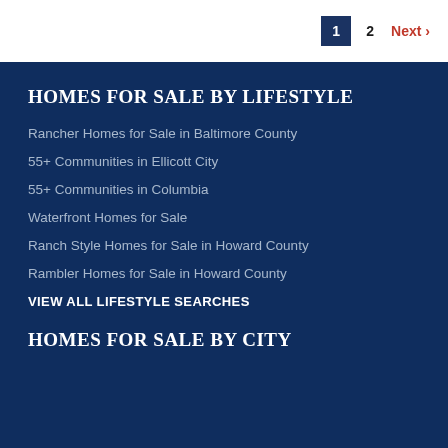1  2  Next >
HOMES FOR SALE BY LIFESTYLE
Rancher Homes for Sale in Baltimore County
55+ Communities in Ellicott City
55+ Communities in Columbia
Waterfront Homes for Sale
Ranch Style Homes for Sale in Howard County
Rambler Homes for Sale in Howard County
VIEW ALL LIFESTYLE SEARCHES
HOMES FOR SALE BY CITY